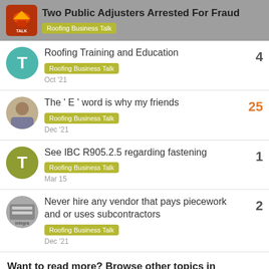Two Public Adjusters Arrested For Fraud — Roofing Business Talk
Roofing Training and Education | Roofing Business Talk | 4 | Oct '21
The ' E ' word is why my friends | Roofing Business Talk | 25 | Dec '21
See IBC R905.2.5 regarding fastening | Roofing Business Talk | 1 | Mar 15
Never hire any vendor that pays piecework and or uses subcontractors | Roofing Business Talk | 2 | Dec '21
Want to read more? Browse other topics in Roofing Business Talk or view latest topics.